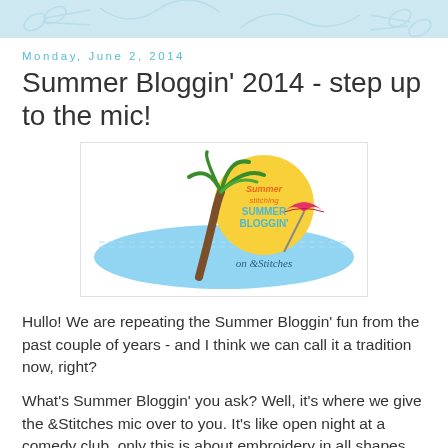Monday, June 2, 2014
Summer Bloggin' 2014 - step up to the mic!
[Figure (logo): Summer Stitching Summer Bloggin' on &Stitches logo with palm tree, sun, and beach umbrella on a tropical island]
Hullo! We are repeating the Summer Bloggin' fun from the past couple of years - and I think we can call it a tradition now, right?
What's Summer Bloggin' you ask? Well, it's where we give the &Stitches mic over to you. It's like open night at a comedy club, only this is about embroidery in all shapes and sizes. Check out the Summer Bloggin' posts from last year.
So if you'd like to do a guest post (or two?) in July or August